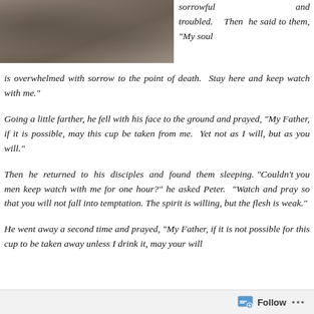[Figure (photo): Grainy ground/soil texture photo in upper left corner]
sorrowful and troubled. Then he said to them, “My soul is overwhelmed with sorrow to the point of death. Stay here and keep watch with me.”
Going a little farther, he fell with his face to the ground and prayed, “My Father, if it is possible, may this cup be taken from me. Yet not as I will, but as you will.”
Then he returned to his disciples and found them sleeping. “Couldn’t you men keep watch with me for one hour?” he asked Peter. “Watch and pray so that you will not fall into temptation. The spirit is willing, but the flesh is weak.”
He went away a second time and prayed, “My Father, if it is not possible for this cup to be taken away unless I drink it, may your will
Follow •••